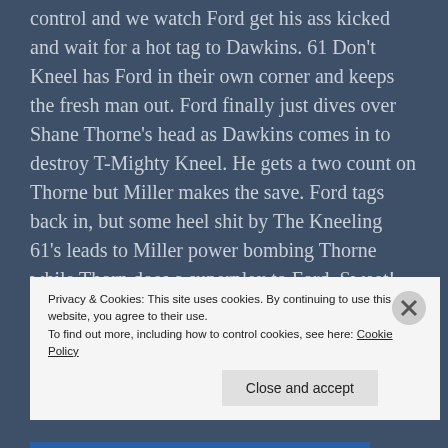control and we watch Ford get his ass kicked and wait for a hot tag to Dawkins. 61 Don't Kneel has Ford in their own corner and keeps the fresh man out. Ford finally just dives over Shane Thorne's head as Dawkins comes in to destroy T-Mighty Kneel. He gets a two count on Thorne but Miller makes the save. Ford tags back in, but some heel shit by The Kneeling 61's leads to Miller power bombing Thorne while Thorn does a superplex to Ford. Sweet!
Dawkins hits a Sky High on Miller, I miss D'Lo Brown. Ford and Thorne legal. Ford bicycle kicks Thorne in
Privacy & Cookies: This site uses cookies. By continuing to use this website, you agree to their use.
To find out more, including how to control cookies, see here: Cookie Policy
Close and accept